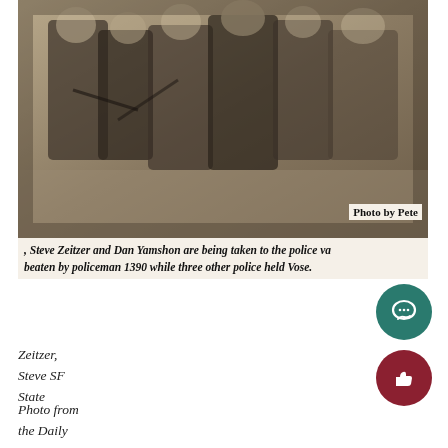[Figure (photo): Historical black and white newspaper photograph showing several people, some being taken by police officers, sepia/aged toned image]
Photo by Pete
, Steve Zeitzer and Dan Yamshon are being taken to the police va beaten by policeman 1390 while three other police held Vose.
Zeitzer, Steve SF State
Photo from the Daily Gator Newspaper of Steve Zeitzer and Dan Yamshon being taken away from police officers